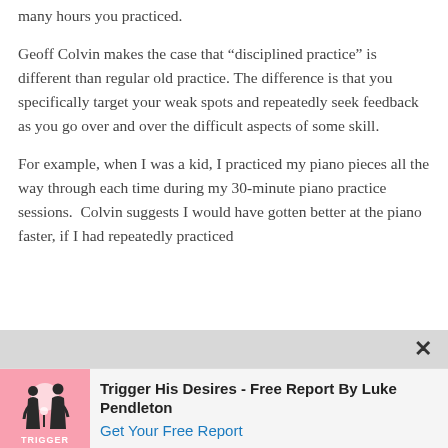many hours you practiced.
Geoff Colvin makes the case that “disciplined practice” is different than regular old practice. The difference is that you specifically target your weak spots and repeatedly seek feedback as you go over and over the difficult aspects of some skill.
For example, when I was a kid, I practiced my piano pieces all the way through each time during my 30-minute piano practice sessions.  Colvin suggests I would have gotten better at the piano faster, if I had repeatedly practiced
[Figure (infographic): Advertisement banner: book cover for 'Trigger His Desires - Free Report By Luke Pendleton' with silhouettes of a man and woman on a pink background, with a 'Get Your Free Report' link.]